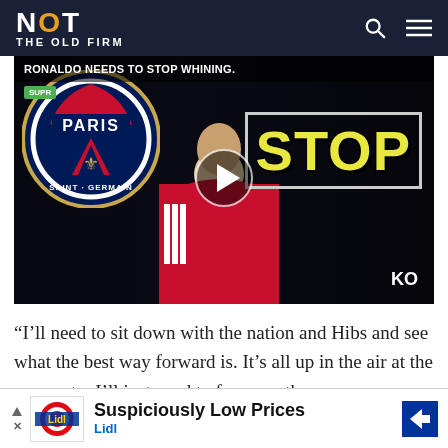NOT THE OLD FIRM
[Figure (screenshot): YouTube-style video thumbnail showing Cristiano Ronaldo in Manchester United red kit alongside PSG logo, with text 'RONALDO NEEDS TO STOP WHINING.' and large yellow 'STOP' text. A play button is overlaid in the center.]
“I’ll need to sit down with the nation and Hibs and see what the best way forward is. It’s all up in the air at the moment – I’ll just need to focus on th
[Figure (screenshot): Lidl advertisement banner: 'Suspiciously Low Prices' with Lidl logo and navigation arrow icon]